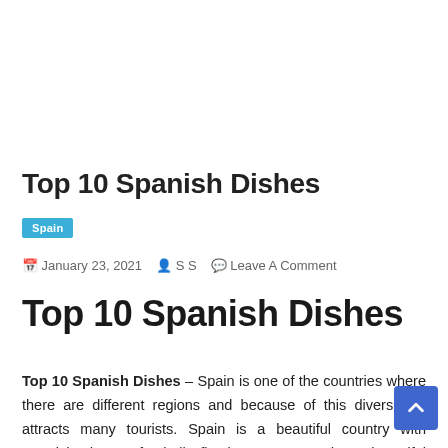Top 10 Spanish Dishes
Spain
January 23, 2021   S S   Leave A Comment
Top 10 Spanish Dishes
Top 10 Spanish Dishes – Spain is one of the countries where there are different regions and because of this diversity, it attracts many tourists. Spain is a beautiful country with Spanish dance, football, flamingos, sunny days, beautiful islands, and the Spanish language that many people speak after Chinese.